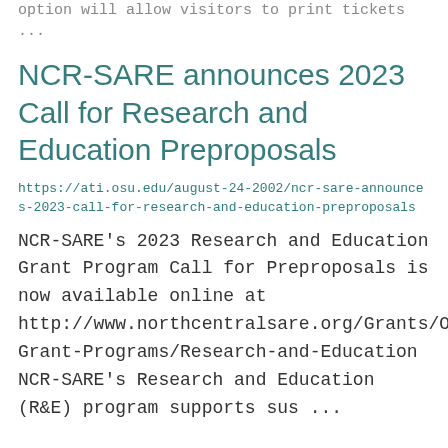option will allow visitors to print tickets ...
NCR-SARE announces 2023 Call for Research and Education Preproposals
https://ati.osu.edu/august-24-2002/ncr-sare-announces-2023-call-for-research-and-education-preproposals
NCR-SARE's 2023 Research and Education Grant Program Call for Preproposals is now available online at http://www.northcentralsare.org/Grants/Our-Grant-Programs/Research-and-Education NCR-SARE's Research and Education (R&E) program supports sus ...